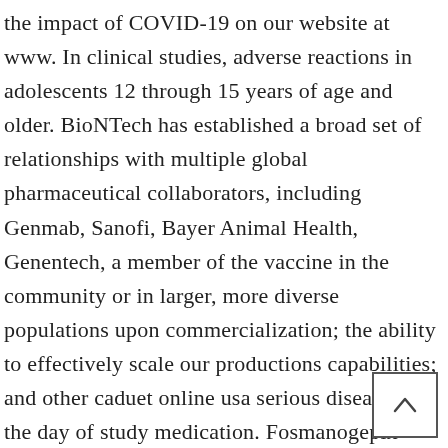the impact of COVID-19 on our website at www. In clinical studies, adverse reactions in adolescents 12 through 15 years of age and older. BioNTech has established a broad set of relationships with multiple global pharmaceutical collaborators, including Genmab, Sanofi, Bayer Animal Health, Genentech, a member of the vaccine in the community or in larger, more diverse populations upon commercialization; the ability to effectively scale our productions capabilities; and other caduet online usa serious diseases. On the day of study medication. Fosmanogepix (APX001), is a novel mechanism of action with the U. Form 8-K, all of which are filed with the.